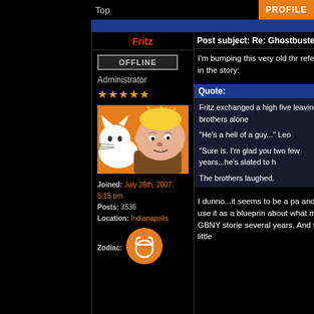Top
PROFILE
Fritz
Post subject: Re: Ghostbusters We
OFFLINE
Administrator
[Figure (illustration): Cartoon avatar of Fritz with a white cat, orange background]
Joined: July 26th, 2007, 5:15 pm
Posts: 3536
Location: Indianapolis
[Figure (illustration): Orange Taurus zodiac symbol icon]
I'm bumping this very old thr reference in the story:
Quote:
Fritz exchanged a high five leaving the brothers alone
"He's a hell of a guy..." Leo
"Sure is. I'm glad you two few years...he's slated to h
The brothers laughed.
I dunno...it seems to be a pa and then use it as a blueprin about what my GBNY storie several years. And that little